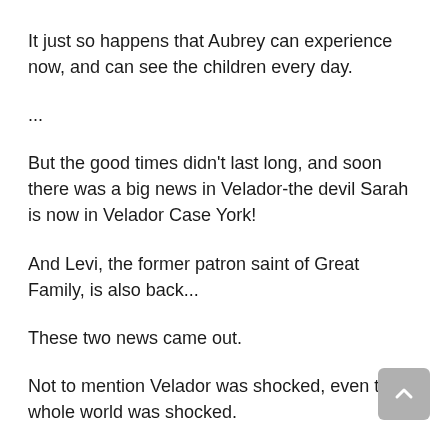It just so happens that Aubrey can experience now, and can see the children every day.
...
But the good times didn't last long, and soon there was a big news in Velador-the devil Sarah is now in Velador Case York!
And Levi, the former patron saint of Great Family, is also back...
These two news came out.
Not to mention Velador was shocked, even the whole world was shocked.